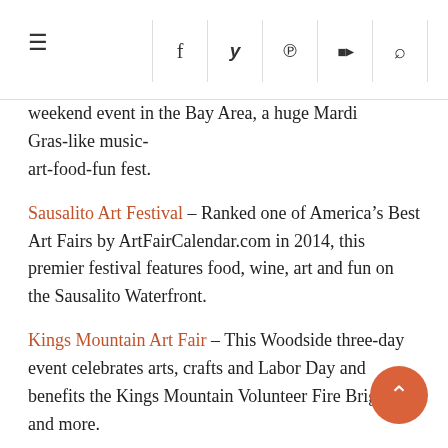≡  f  y   pinterest  youtube  search
weekend event in the Bay Area, a huge Mardi Gras-like music-art-food-fun fest.
Sausalito Art Festival – Ranked one of America's Best Art Fairs by ArtFairCalendar.com in 2014, this premier festival features food, wine, art and fun on the Sausalito Waterfront.
Kings Mountain Art Fair – This Woodside three-day event celebrates arts, crafts and Labor Day and benefits the Kings Mountain Volunteer Fire Brigade and more.
Labor Day Steam Train Days 2015 – Presented by the Golden Gate Railroad Museum and Pacific Locomotive Association, the three day event offers train rides from the Sunol Station.
Sacramento
Sacramento